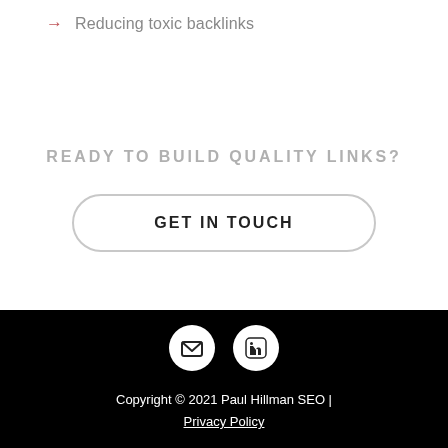→ Reducing toxic backlinks
READY TO BUILD QUALITY LINKS?
GET IN TOUCH
Copyright © 2021 Paul Hillman SEO | Privacy Policy